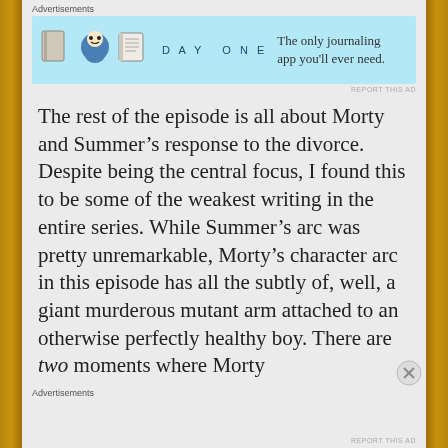Advertisements
[Figure (screenshot): Day One journaling app advertisement banner with blue background, app icons, and tagline 'The only journaling app you'll ever need.']
REPORT THIS AD
The rest of the episode is all about Morty and Summer’s response to the divorce. Despite being the central focus, I found this to be some of the weakest writing in the entire series. While Summer’s arc was pretty unremarkable, Morty’s character arc in this episode has all the subtly of, well, a giant murderous mutant arm attached to an otherwise perfectly healthy boy. There are two moments where Morty
Advertisements
REPORT THIS AD